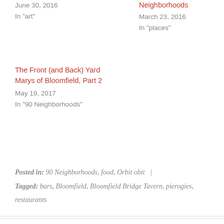June 30, 2016
In "art"
Neighborhoods
March 23, 2016
In "places"
The Front (and Back) Yard Marys of Bloomfield, Part 2
May 19, 2017
In "90 Neighborhoods"
Posted in: 90 Neighborhoods, food, Orbit obit  |
Tagged: bars, Bloomfield, Bloomfield Bridge Tavern, pierogies, restaurants
← An Urban Hike: William Street, Mount Washington
James P. Leaf Mausoleum, Beaver Cemetery →